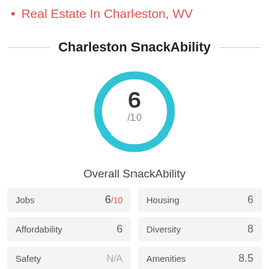Real Estate In Charleston, WV
Charleston SnackAbility
[Figure (donut-chart): Donut chart with cyan/teal ring showing score of 6/10 for Overall SnackAbility]
Overall SnackAbility
| Category | Score | Category | Score |
| --- | --- | --- | --- |
| Jobs | 6/10 | Housing | 6 |
| Affordability | 6 | Diversity | 8 |
| Safety | N/A | Amenities | 8.5 |
| Education | 8.5 | Commute | 0 |